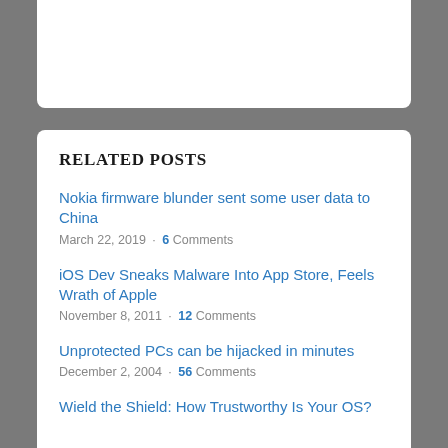RELATED POSTS
Nokia firmware blunder sent some user data to China
March 22, 2019 · 6 Comments
iOS Dev Sneaks Malware Into App Store, Feels Wrath of Apple
November 8, 2011 · 12 Comments
Unprotected PCs can be hijacked in minutes
December 2, 2004 · 56 Comments
Wield the Shield: How Trustworthy Is Your OS?